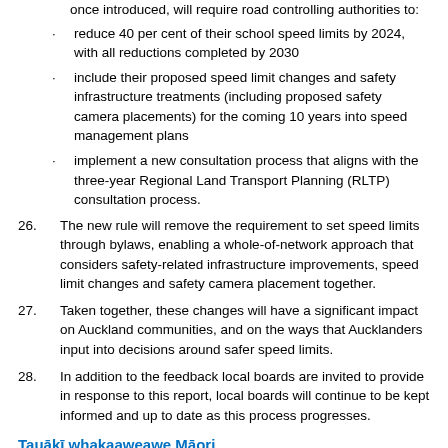once introduced, will require road controlling authorities to:
reduce 40 per cent of their school speed limits by 2024, with all reductions completed by 2030
include their proposed speed limit changes and safety infrastructure treatments (including proposed safety camera placements) for the coming 10 years into speed management plans
implement a new consultation process that aligns with the three-year Regional Land Transport Planning (RLTP) consultation process.
26. The new rule will remove the requirement to set speed limits through bylaws, enabling a whole-of-network approach that considers safety-related infrastructure improvements, speed limit changes and safety camera placement together.
27. Taken together, these changes will have a significant impact on Auckland communities, and on the ways that Aucklanders input into decisions around safer speed limits.
28. In addition to the feedback local boards are invited to provide in response to this report, local boards will continue to be kept informed and up to date as this process progresses.
Tauākī whakaaweawe Māori
Māori impact statement
29. Auckland Transport is committed to meeting its